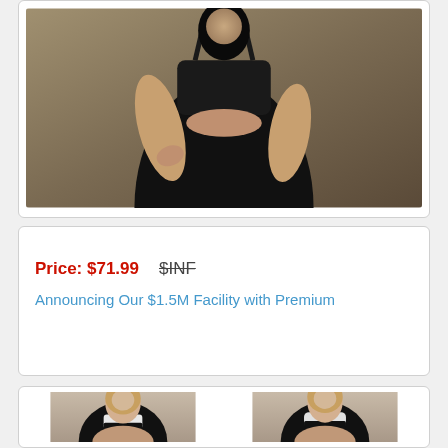[Figure (photo): Model wearing black sports bra and black shiny leggings, posing against a grey concrete wall background, cropped to show torso and legs.]
Price: $71.99   $INF
Announcing Our $1.5M Facility with Premium
[Figure (photo): Two side-by-side images of a blonde female model wearing a black and white sports bra/bralette with matching black shorts, shown from slightly different angles.]